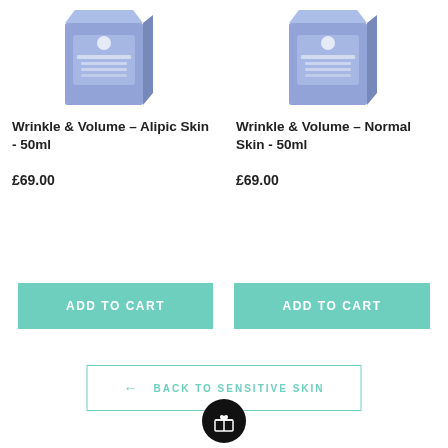[Figure (photo): Product photo of Wrinkle & Volume – Alipic Skin 50ml box, lavender/purple color]
Wrinkle & Volume – Alipic Skin - 50ml
£69.00
[Figure (photo): Product photo of Wrinkle & Volume – Normal Skin 50ml box, lavender/purple color]
Wrinkle & Volume – Normal Skin - 50ml
£69.00
ADD TO CART
ADD TO CART
← BACK TO SENSITIVE SKIN